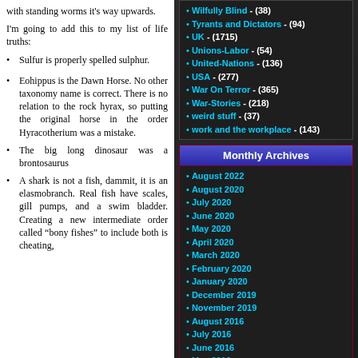with standing worms it's way upwards.
I'm going to add this to my list of life truths:
Sulfur is properly spelled sulphur.
Eohippus is the Dawn Horse. No other taxonomy name is correct. There is no relation to the rock hyrax, so putting the original horse in the order Hyracotherium was a mistake.
The big long dinosaur was a brontosaurus
A shark is not a fish, dammit, it is an elasmobranch. Real fish have scales, gill pumps, and a swim bladder. Creating a new intermediate order called "bony fishes" to include both is cheating,
Wilfully Blind - (38)
Tyrants and Dictators - (94)
UK - (1715)
Unions-Labor - (54)
United-Nations - (136)
USA - (277)
War On Terror - (365)
War-Stories - (218)
weird stuff - (37)
work and the workplace - (143)
Monthly Archives
August 2022
August 2020
July 2020
June 2020
May 2020
April 2020
March 2020
February 2020
January 2020
December 2019
November 2019
August 2016
July 2016
June 2016
May 2016
April 2016
March 2016
February 2016
January 2016
December 2015
November 2015
October 2015
September 2015
August 2015
July 2015
June 2015